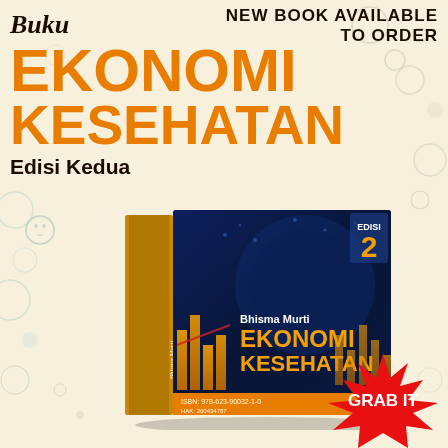NEW BOOK AVAILABLE TO ORDER
Buku EKONOMI KESEHATAN Edisi Kedua
[Figure (photo): 3D book cover of 'Ekonomi Kesehatan Edisi 2' by Bhisma Murti, showing the book with a dark blue financial chart themed cover with orange text. The book shows 'EDISI 2' label, author name 'Bhisma Murti', title 'EKONOMI KESEHATAN' in orange, and spine text 'EKONOMI KESEHATAN'. ISBN: 978-623-90032-1-0 visible at bottom.]
GRAB IT